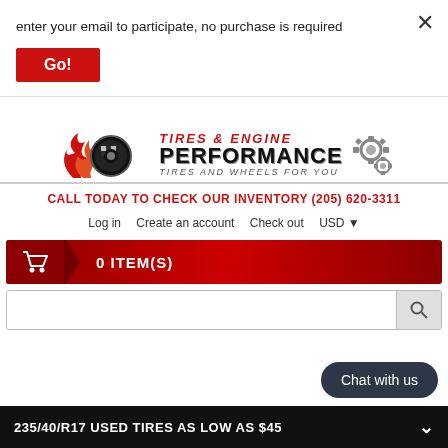enter your email to participate, no purchase is required
Go!
[Figure (logo): Tires & Engine Performance logo with flame, checkered tire, and gear icons. Text: TIRES AND WHEELS FOR YOU]
CALL TODAY TO CHECK OUR INVENTORY (205) 620-3311
Log in   Create an account   Check out   USD
0 ITEM(S)
Chat with us
235/40/R17 USED TIRES AS LOW AS $45